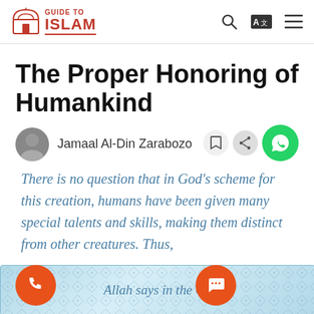GUIDE TO ISLAM
The Proper Honoring of Humankind
Jamaal Al-Din Zarabozo
There is no question that in God’s scheme for this creation, humans have been given many special talents and skills, making them distinct from other creatures. Thus,
Allah says in the Qu…